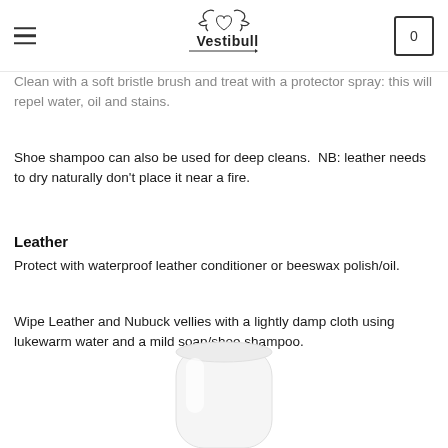Vestibull — Navigation header with logo and cart
Clean with a soft bristle brush and treat with a protector spray: this will repel water, oil and stains.
Shoe shampoo can also be used for deep cleans.  NB: leather needs to dry naturally don't place it near a fire.
Leather
Protect with waterproof leather conditioner or beeswax polish/oil.
Wipe Leather and Nubuck vellies with a lightly damp cloth using lukewarm water and a mild soap/shoe shampoo.
[Figure (photo): A white cylindrical product bottle partially visible at the bottom of the page.]